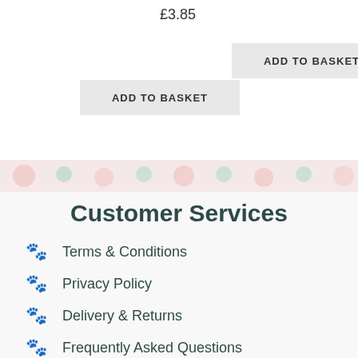£3.85
ADD TO BASKET
ADD TO BASKET
[Figure (illustration): Decorative pet-themed banner with cartoon animals in pink and teal tones]
Customer Services
Terms & Conditions
Privacy Policy
Delivery & Returns
Frequently Asked Questions
The Rutland Pet Nanny
Let's get Social